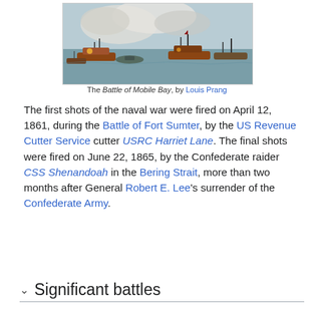[Figure (illustration): Painting of the Battle of Mobile Bay showing naval ships engaged in battle with smoke and water]
The Battle of Mobile Bay, by Louis Prang
The first shots of the naval war were fired on April 12, 1861, during the Battle of Fort Sumter, by the US Revenue Cutter Service cutter USRC Harriet Lane. The final shots were fired on June 22, 1865, by the Confederate raider CSS Shenandoah in the Bering Strait, more than two months after General Robert E. Lee's surrender of the Confederate Army.
Significant battles